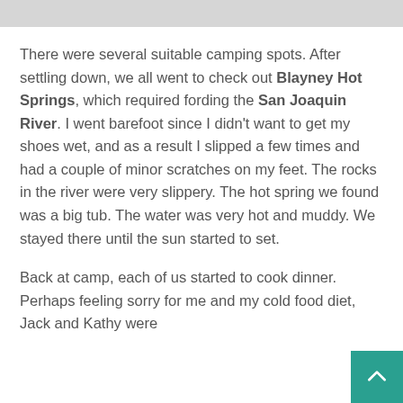[Figure (photo): Partial image visible at the top of the page, light gray rectangle representing a cropped photograph.]
There were several suitable camping spots. After settling down, we all went to check out Blayney Hot Springs, which required fording the San Joaquin River. I went barefoot since I didn't want to get my shoes wet, and as a result I slipped a few times and had a couple of minor scratches on my feet. The rocks in the river were very slippery. The hot spring we found was a big tub. The water was very hot and muddy. We stayed there until the sun started to set.
Back at camp, each of us started to cook dinner. Perhaps feeling sorry for me and my cold food diet, Jack and Kathy were